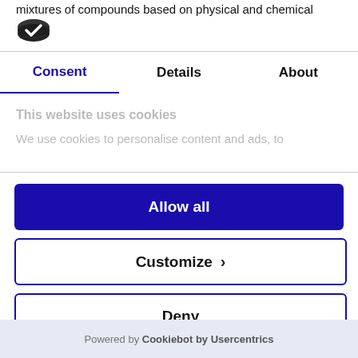mixtures of compounds based on physical and chemical
[Figure (logo): Cookiebot shield/cookie logo icon]
Consent | Details | About (tabs, Consent is active/selected in blue)
This website uses cookies
We use cookies to personalise content and ads, to
Allow all
Customize >
Deny
Powered by Cookiebot by Usercentrics